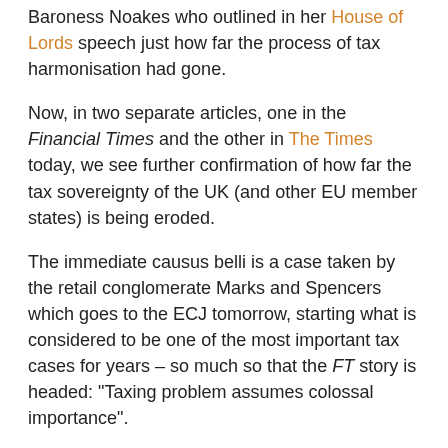Baroness Noakes who outlined in her House of Lords speech just how far the process of tax harmonisation had gone.
Now, in two separate articles, one in the Financial Times and the other in The Times today, we see further confirmation of how far the tax sovereignty of the UK (and other EU member states) is being eroded.
The immediate causus belli is a case taken by the retail conglomerate Marks and Spencers which goes to the ECJ tomorrow, starting what is considered to be one of the most important tax cases for years – so much so that the FT story is headed: "Taxing problem assumes colossal importance".
The case concerns the government's denial of tax relief for business failures in other parts of the EU and it has the potential to cost the government hundreds of millions of pounds in tax revenues and have a ripple effect throughout the EU.
The FT believes – as do we – that it could also trigger far-